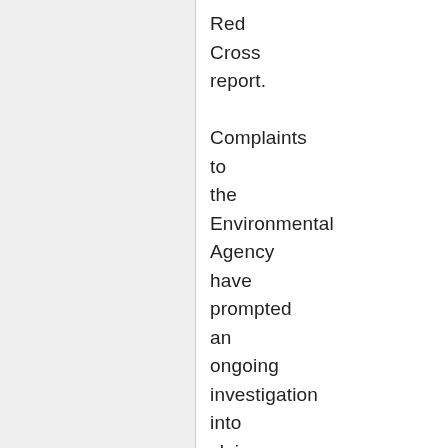Red Cross report. Complaints to the Environmental Agency have prompted an ongoing investigation into claims that Basildon, prior to its purchase by the